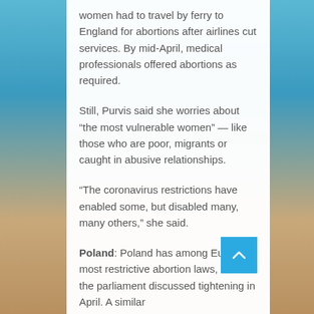women had to travel by ferry to England for abortions after airlines cut services. By mid-April, medical professionals offered abortions as required.
Still, Purvis said she worries about “the most vulnerable women” — like those who are poor, migrants or caught in abusive relationships.
“The coronavirus restrictions have enabled some, but disabled many, many others,” she said.
Poland: Poland has among Europe’s most restrictive abortion laws, which the parliament discussed tightening in April. A similar